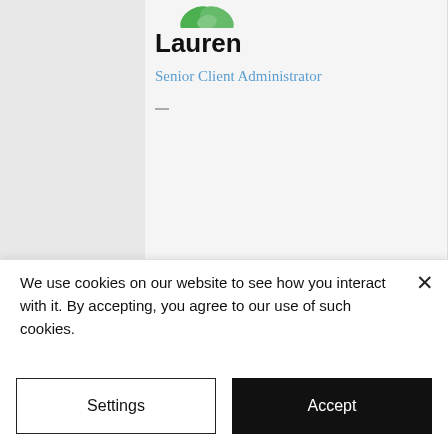[Figure (illustration): Partial view of a user profile page showing a green leaf/plant avatar icon at the top]
Lauren
Senior Client Administrator
We use cookies on our website to see how you interact with it. By accepting, you agree to our use of such cookies.
Settings
Accept